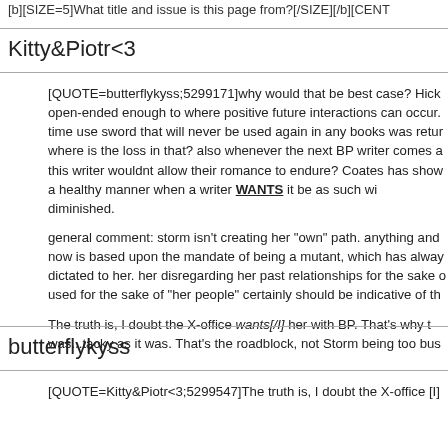[b][SIZE=5]What title and issue is this page from?[/SIZE][/b][CENT
Kitty&Piotr<3
[QUOTE=butterflykyss;5299171]why would that be best case? Hick open-ended enough to where positive future interactions can occur. time use sword that will never be used again in any books was retu where is the loss in that? also whenever the next BP writer comes a this writer wouldnt allow their romance to endure? Coates has sho a healthy manner when a writer [b][u]WANTS[/u][/b] it be as such wi diminished.
general comment: storm isn't creating her "own" path. anything and now is based upon the mandate of being a mutant, which has alway dictated to her. her disregarding her past relationships for the sake o used for the sake of "her people" certainly should be indicative of th
The truth is, I doubt the X-office [I]wants[/I] her with BP. That's why t was...tacky as it was. That's the roadblock, not Storm being too bus
butterflykyss
[QUOTE=Kitty&Piotr<3;5299547]The truth is, I doubt the X-office [I]